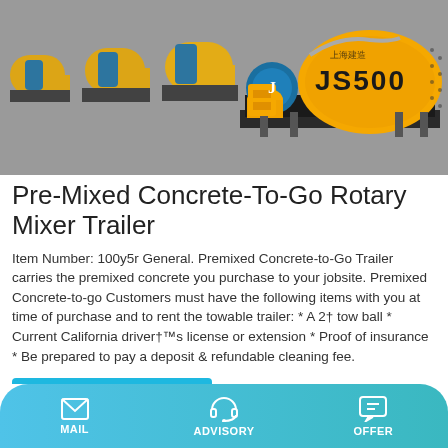[Figure (photo): Row of yellow industrial JS500 concrete mixer machines lined up in a factory or outdoor facility, showing the yellow drum and blue motor components.]
Pre-Mixed Concrete-To-Go Rotary Mixer Trailer
Item Number: 100y5r General. Premixed Concrete-to-Go Trailer carries the premixed concrete you purchase to your jobsite. Premixed Concrete-to-go Customers must have the following items with you at time of purchase and to rent the towable trailer: * A 2† tow ball * Current California driver†™s license or extension * Proof of insurance * Be prepared to pay a deposit & refundable cleaning fee.
Learn More
MAIL   ADVISORY   OFFER